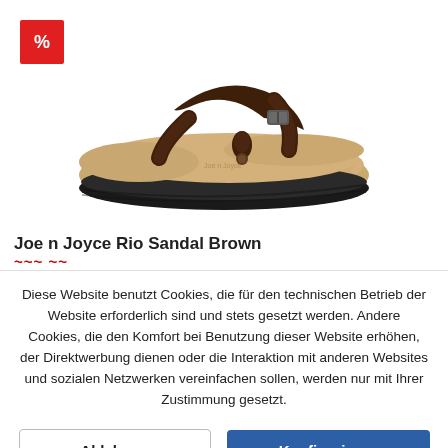[Figure (photo): Brown flip-flop sandal (Joe n Joyce Rio Sandal Brown) with cork footbed and dark brown leather strap with buckle, shown on white background.]
Joe n Joyce Rio Sandal Brown
Diese Website benutzt Cookies, die für den technischen Betrieb der Website erforderlich sind und stets gesetzt werden. Andere Cookies, die den Komfort bei Benutzung dieser Website erhöhen, der Direktwerbung dienen oder die Interaktion mit anderen Websites und sozialen Netzwerken vereinfachen sollen, werden nur mit Ihrer Zustimmung gesetzt.
Ablehnen
Konfigurieren